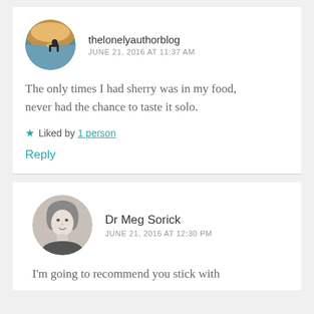[Figure (photo): Circular avatar of thelonelyauthorblog - silhouette of person in chair against sunset/water background]
thelonelyauthorblog
JUNE 21, 2016 AT 11:37 AM
The only times I had sherry was in my food, never had the chance to taste it solo.
★ Liked by 1 person
Reply
[Figure (photo): Circular avatar of Dr Meg Sorick - black and white photo of a woman]
Dr Meg Sorick
JUNE 21, 2016 AT 12:30 PM
I'm going to recommend you stick with